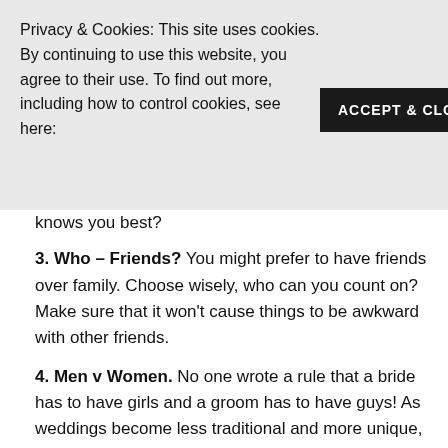Privacy & Cookies: This site uses cookies. By continuing to use this website, you agree to their use. To find out more, including how to control cookies, see here:
ACCEPT & CLOSE
knows you best?
3. Who – Friends? You might prefer to have friends over family. Choose wisely, who can you count on? Make sure that it won't cause things to be awkward with other friends.
4. Men v Women. No one wrote a rule that a bride has to have girls and a groom has to have guys! As weddings become less traditional and more unique, mix genders in your wedding party. You don't have to